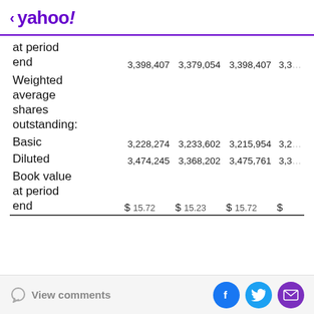< yahoo!
|  | Col1 | Col2 | Col3 | Col4 |
| --- | --- | --- | --- | --- |
| at period end | 3,398,407 | 3,379,054 | 3,398,407 | 3,3… |
| Weighted average shares outstanding: |  |  |  |  |
| Basic | 3,228,274 | 3,233,602 | 3,215,954 | 3,2… |
| Diluted | 3,474,245 | 3,368,202 | 3,475,761 | 3,3… |
| Book value at period end | $ 15.72 | $ 15.23 | $ 15.72 | $ |
View comments